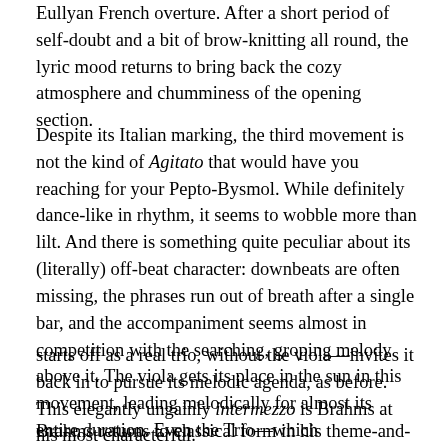Eullyan French overture. After a short period of self-doubt and a bit of brow-knitting all round, the lyric mood returns to bring back the cozy atmosphere and chumminess of the opening section.
Despite its Italian marking, the third movement is not the kind of Agitato that would have you reaching for your Pepto-Bysmol. While definitely dance-like in rhythm, it seems to wobble more than lilt. And there is something quite peculiar about its (literally) off-beat character: downbeats are often missing, the phrases run out of breath after a single bar, and the accompaniment seems almost in competition with the searching, groping melody above it. The viola gets its place in the sun in this movement, leading melodically for almost its entire duration. Even the Trio—which
starts off as a real trio, without the viola—invites it back in to pursue its melodic agenda, as before. This elegantly ungainly intermezzo is Brahms at his most characterful.
Brahms returns to classical form in his theme-and-variations finale, but with a number of sly little quirky surprises craftily